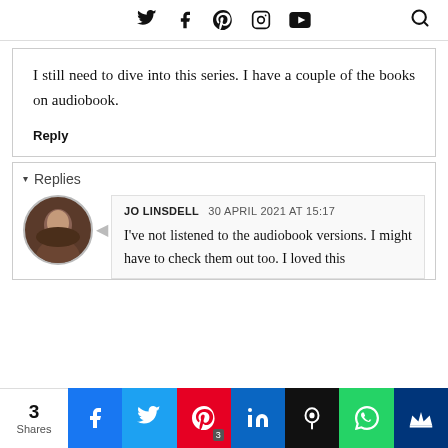Twitter Facebook Pinterest Instagram YouTube [Search]
I still need to dive into this series. I have a couple of the books on audiobook.
Reply
▾ Replies
JO LINSDELL  30 APRIL 2021 AT 15:17
I've not listened to the audiobook versions. I might have to check them out too. I loved this
3 Shares | Facebook | Twitter | Pinterest 3 | LinkedIn | Hootsuite | WhatsApp | Crown